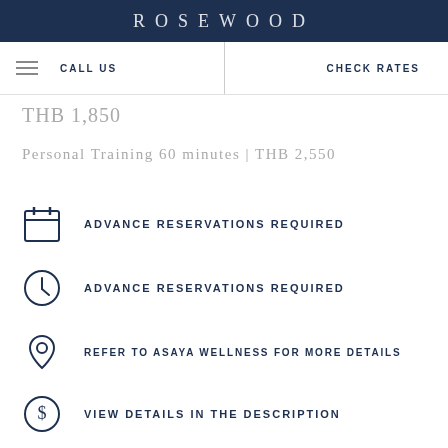ROSEWOOD
CALL US | CHECK RATES
THB 1,850
Personal Training 60 minutes | THB 2,550
ADVANCE RESERVATIONS REQUIRED
ADVANCE RESERVATIONS REQUIRED
REFER TO ASAYA WELLNESS FOR MORE DETAILS
VIEW DETAILS IN THE DESCRIPTION
HEALTH & FITNESS